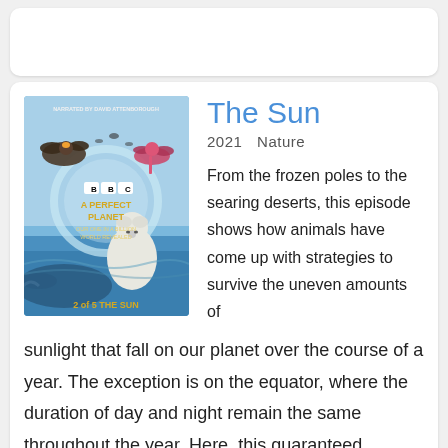[Figure (screenshot): Top card placeholder - white rounded card with shadow]
[Figure (illustration): BBC A Perfect Planet book/DVD cover showing eagles, flamingo, polar bear, whale, with text 'NARRATED BY DAVID ATTENBOROUGH' and '2 of 5 THE SUN']
The Sun
2021  Nature
From the frozen poles to the searing deserts, this episode shows how animals have come up with strategies to survive the uneven amounts of sunlight that fall on our planet over the course of a year. The exception is on the equator, where the duration of day and night remain the same throughout the year. Here, this guaranteed sunlight drives t ... Show More